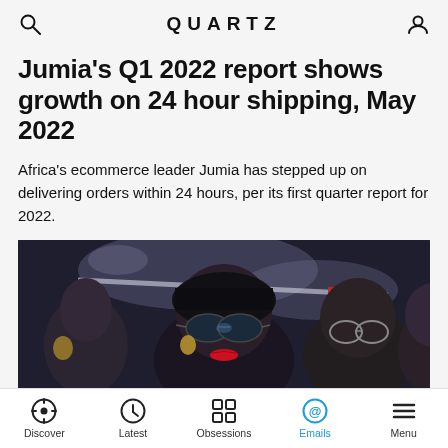QUARTZ
Jumia's Q1 2022 report shows growth on 24 hour shipping, May 2022
Africa's ecommerce leader Jumia has stepped up on delivering orders within 24 hours, per its first quarter report for 2022.
[Figure (photo): Photo of people in a crowd, with a woman in sunglasses and red lipstick in the foreground]
Discover | Latest | Obsessions | Emails | Menu